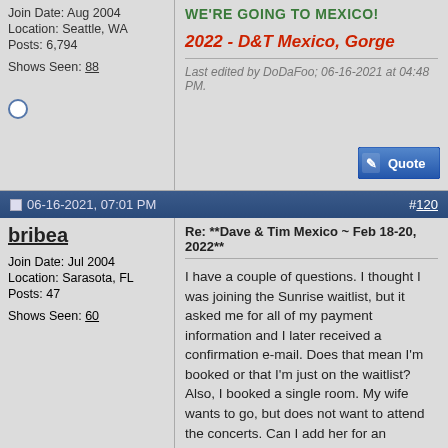Join Date: Aug 2004
Location: Seattle, WA
Posts: 6,794

Shows Seen: 88
WE'RE GOING TO MEXICO!
2022 - D&T Mexico, Gorge
Last edited by DoDaFoo; 06-16-2021 at 04:48 PM.
06-16-2021, 07:01 PM
#120
bribea
Join Date: Jul 2004
Location: Sarasota, FL
Posts: 47

Shows Seen: 60
Re: **Dave & Tim Mexico ~ Feb 18-20, 2022**
I have a couple of questions. I thought I was joining the Sunrise waitlist, but it asked me for all of my payment information and I later received a confirmation e-mail. Does that mean I'm booked or that I'm just on the waitlist? Also, I booked a single room. My wife wants to go, but does not want to attend the concerts. Can I add her for an additional fee of some sort? If so, how do I do that? Thanks for any help!